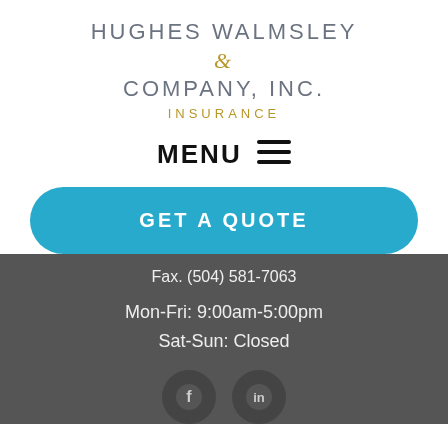HUGHES WALMSLEY & COMPANY, INC. INSURANCE
MENU ☰
GET A QUOTE
Fax. (504) 581-7063
Mon-Fri: 9:00am-5:00pm
Sat-Sun: Closed
[Figure (illustration): Two social media icon circles partially visible at bottom of page]